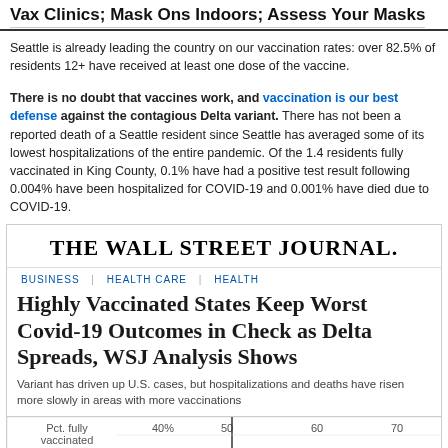Vax Clinics; Mask Ons Indoors; Assess Your Masks
Seattle is already leading the country on our vaccination rates: over 82.5% of residents 12+ have received at least one dose of the vaccine.
There is no doubt that vaccines work, and vaccination is our best defense against the contagious Delta variant. There has not been a reported death of a Seattle resident since Seattle has averaged some of its lowest hospitalizations of the entire pandemic. Of the 1.4 residents fully vaccinated in King County, 0.1% have had a positive test result following 0.004% have been hospitalized for COVID-19 and 0.001% have died due to COVID-19.
[Figure (screenshot): Screenshot of a Wall Street Journal article titled 'Highly Vaccinated States Keep Worst Covid-19 Outcomes in Check as Delta Spreads, WSJ Analysis Shows' with a scatter plot showing Pct. fully vaccinated on x-axis (40%-70%) and dots for Florida and Louisiana labeled, with 'Confirmed Covid-19' partially visible.]
THE WALL STREET JOURNAL.
BUSINESS | HEALTH CARE | HEALTH
Highly Vaccinated States Keep Worst Covid-19 Outcomes in Check as Delta Spreads, WSJ Analysis Shows
Variant has driven up U.S. cases, but hospitalizations and deaths have risen more slowly in areas with more vaccinations